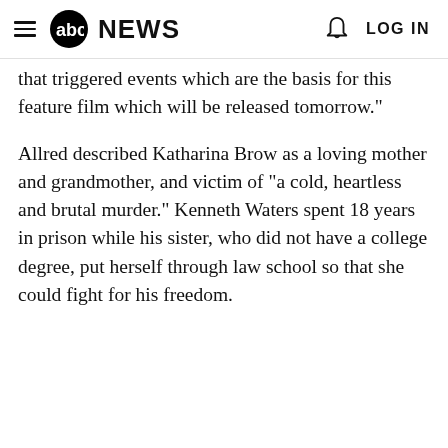abc NEWS  LOG IN
that triggered events which are the basis for this feature film which will be released tomorrow."
Allred described Katharina Brow as a loving mother and grandmother, and victim of "a cold, heartless and brutal murder." Kenneth Waters spent 18 years in prison while his sister, who did not have a college degree, put herself through law school so that she could fight for his freedom.